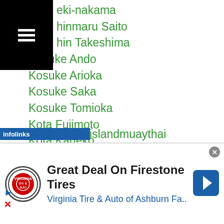eki-nakama
hinmaru Saito
hin Takeshima
Kosuke Ando
Kosuke Arioka
Kosuke Saka
Kosuke Tomioka
Kota Fujimoto
Kota Kaneko
Kotaro Sekine
Kota Tokunaga
Kotatsu Takehara
Kotoji Irita
Koyo Nakagawa
Kozumbek Mardonov
ok-islandmuaythai
[Figure (screenshot): Advertisement banner: Great Deal On Firestone Tires - Virginia Tire & Auto of Ashburn Fa.. with Virginia Tire & Auto logo and navigation arrow icon. Infolinks label visible.]